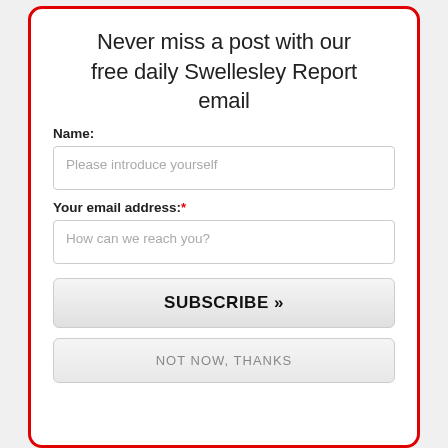Never miss a post with our free daily Swellesley Report email
Name:
Please introduce yourself
Your email address:*
How can we reach you?
SUBSCRIBE »
NOT NOW, THANKS